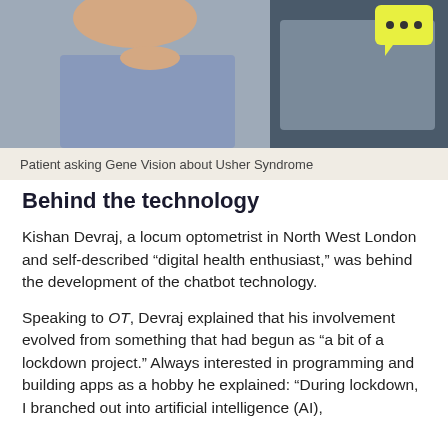[Figure (photo): Patient asking Gene Vision about Usher Syndrome — a man in a blue shirt visible on the left, with a chat interface visible on the right side, including a yellow speech bubble at the top right.]
Patient asking Gene Vision about Usher Syndrome
Behind the technology
Kishan Devraj, a locum optometrist in North West London and self-described “digital health enthusiast,” was behind the development of the chatbot technology.
Speaking to OT, Devraj explained that his involvement evolved from something that had begun as “a bit of a lockdown project.” Always interested in programming and building apps as a hobby he explained: “During lockdown, I branched out into artificial intelligence (AI),